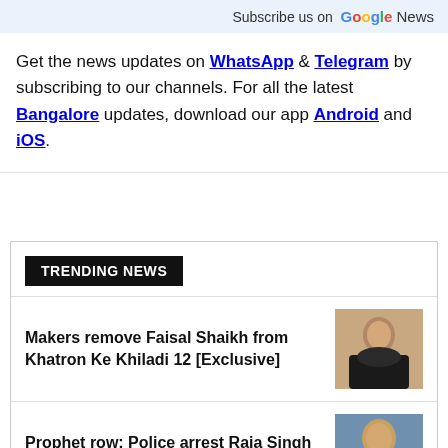Subscribe us on Google News
Get the news updates on WhatsApp & Telegram by subscribing to our channels. For all the latest Bangalore updates, download our app Android and iOS.
TRENDING NEWS
Makers remove Faisal Shaikh from Khatron Ke Khiladi 12 [Exclusive]
[Figure (photo): Photo of a young man in a black t-shirt]
Prophet row: Police arrest Raja Singh from Hyderabad residence
[Figure (photo): Photo of a man holding a yellow book/envelope]
[Figure (photo): Partial photo at bottom of page]